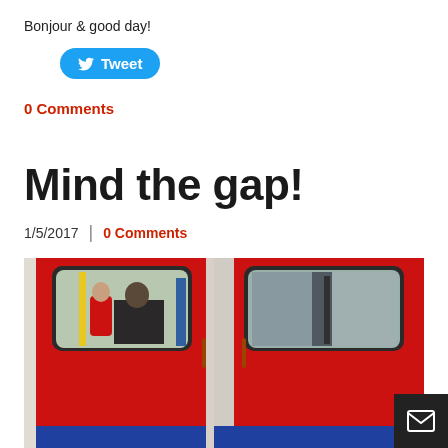Bonjour & good day!
Tweet
0 Comments
Mind the gap!
1/5/2017 | 0 Comments
[Figure (photo): Close-up photo of red London Underground tube train doors closed at a station platform, with passengers visible through the windows.]